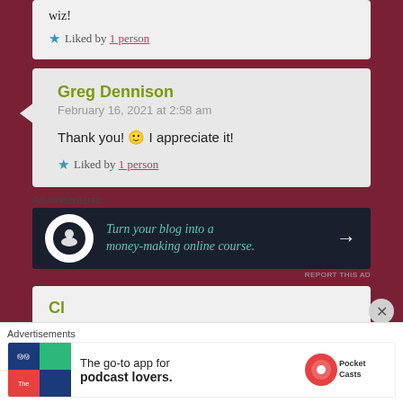wiz!
★ Liked by 1 person
Greg Dennison
February 16, 2021 at 2:58 am
Thank you! 🙂 I appreciate it!
★ Liked by 1 person
Advertisements
[Figure (infographic): Dark banner ad: Turn your blog into a money-making online course. Arrow icon on right.]
REPORT THIS AD
Advertisements
[Figure (infographic): White ad banner with Pocket Casts logo: The go-to app for podcast lovers.]